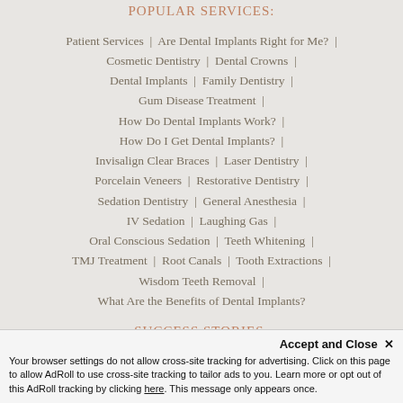POPULAR SERVICES:
Patient Services | Are Dental Implants Right for Me? | Cosmetic Dentistry | Dental Crowns | Dental Implants | Family Dentistry | Gum Disease Treatment | How Do Dental Implants Work? | How Do I Get Dental Implants? | Invisalign Clear Braces | Laser Dentistry | Porcelain Veneers | Restorative Dentistry | Sedation Dentistry | General Anesthesia | IV Sedation | Laughing Gas | Oral Conscious Sedation | Teeth Whitening | TMJ Treatment | Root Canals | Tooth Extractions | Wisdom Teeth Removal | What Are the Benefits of Dental Implants?
SUCCESS STORIES:
Smile Gallery | What Our Patients Say
Accept and Close ✕ Your browser settings do not allow cross-site tracking for advertising. Click on this page to allow AdRoll to use cross-site tracking to tailor ads to you. Learn more or opt out of this AdRoll tracking by clicking here. This message only appears once.